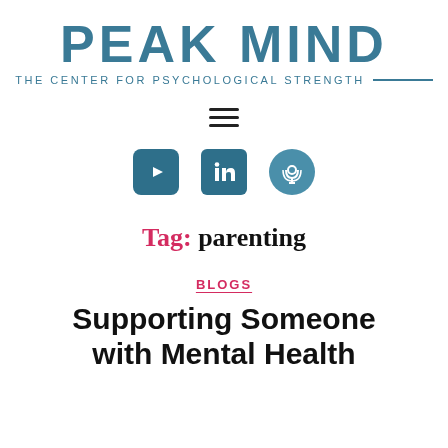[Figure (logo): Peak Mind logo: large teal text 'PEAK MIND' with tagline 'THE CENTER FOR PSYCHOLOGICAL STRENGTH' and a horizontal rule]
[Figure (other): Hamburger menu icon with three horizontal lines]
[Figure (other): Social media icons: YouTube, LinkedIn, Podcast]
Tag: parenting
BLOGS
Supporting Someone with Mental Health